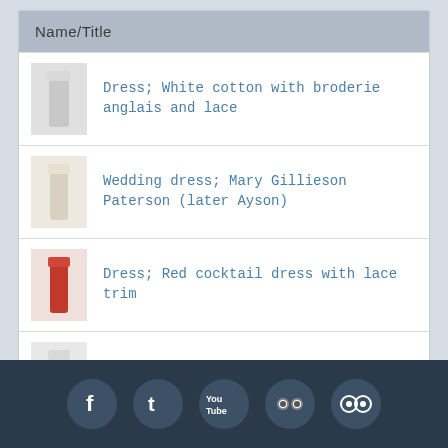| Name/Title |
| --- |
| Dress; White cotton with broderie anglais and lace |
| Wedding dress; Mary Gillieson Paterson (later Ayson)... |
| Dress; Red cocktail dress with lace trim |
| Wedding dress of Doris Addison (nee Clement), 1939 |
Social media links: Facebook, Twitter, YouTube, Flickr, TripAdvisor